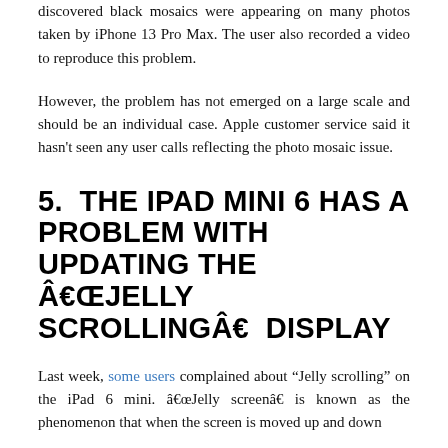discovered black mosaics were appearing on many photos taken by iPhone 13 Pro Max. The user also recorded a video to reproduce this problem.
However, the problem has not emerged on a large scale and should be an individual case. Apple customer service said it hasn't seen any user calls reflecting the photo mosaic issue.
5. THE IPAD MINI 6 HAS A PROBLEM WITH UPDATING THE Ââ€œJELLY SCROLLINGÂâ€ DISPLAY
Last week, some users complained about “Jelly scrolling” on the iPad 6 mini. â€œJelly screenâ€ is known as the phenomenon that when the screen is moved up and down